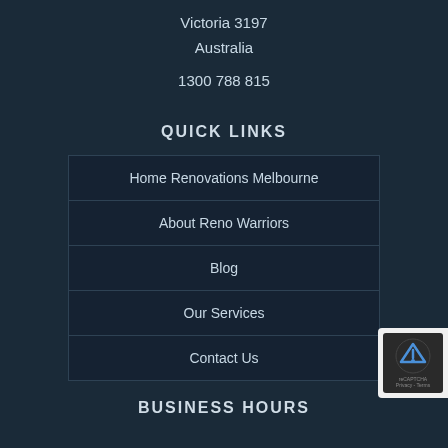Victoria 3197
Australia
1300 788 815
QUICK LINKS
Home Renovations Melbourne
About Reno Warriors
Blog
Our Services
Contact Us
BUSINESS HOURS